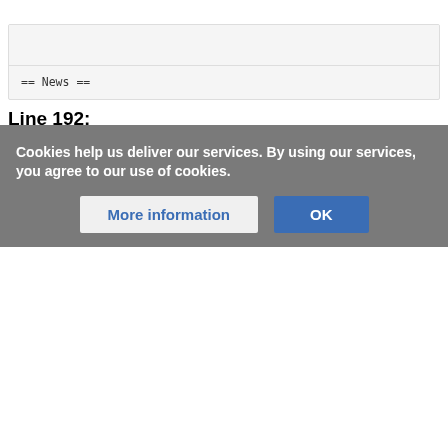[Figure (screenshot): Code block showing '== News ==' text with gray header bar above and border]
Line 192:
[Figure (screenshot): Code block showing 'update Jan 31, 2017: many bug fixes. Now works wi Eiger HDF5 - select the *master.h5 file in the FRAME tab.' with gray header bar above]
Cookies help us deliver our services. By using our services, you agree to our use of cookies.